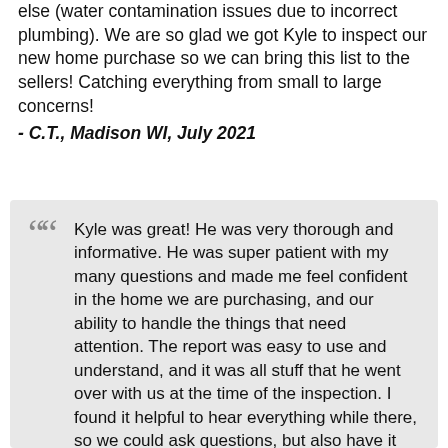else (water contamination issues due to incorrect plumbing). We are so glad we got Kyle to inspect our new home purchase so we can bring this list to the sellers! Catching everything from small to large concerns!
- C.T., Madison WI, July 2021
Kyle was great! He was very thorough and informative. He was super patient with my many questions and made me feel confident in the home we are purchasing, and our ability to handle the things that need attention. The report was easy to use and understand, and it was all stuff that he went over with us at the time of the inspection. I found it helpful to hear everything while there, so we could ask questions, but also have it sent to my email so that I could reference it and not worry about note taking. Everything was well labeled and easy to understand. Lots of pictures! All of our questions were answered, even ones that were probably obvious to most (I am not from WI and didn't understand the process of adding salt to a water softener). I feel confident and excited about our future home and I am deeply appreciative of the